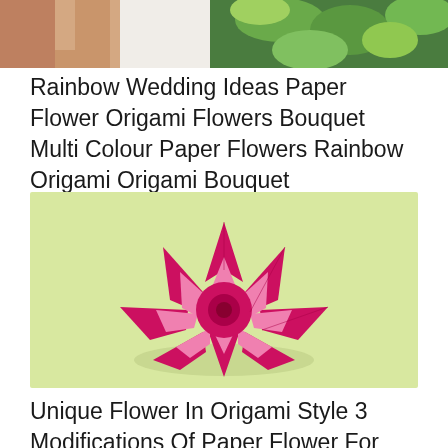[Figure (photo): Partial view of a hand holding colorful paper/origami flowers with green leaves against a light background, cropped at top of page]
Rainbow Wedding Ideas Paper Flower Origami Flowers Bouquet Multi Colour Paper Flowers Rainbow Origami Origami Bouquet
[Figure (photo): A pink and magenta origami paper flower with multiple layered petals arranged in a star/flower pattern, photographed on a light yellow-green background]
Unique Flower In Origami Style 3 Modifications Of Paper Flower For Room